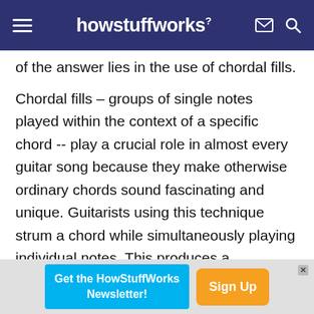howstuffworks
of the answer lies in the use of chordal fills.
Chordal fills – groups of single notes played within the context of a specific chord -- play a crucial role in almost every guitar song because they make otherwise ordinary chords sound fascinating and unique. Guitarists using this technique strum a chord while simultaneously playing individual notes. This produces a countermelody, a second melody played at the same time as the principle one. These fills add a distinctive sound, transforming a simple chord progression into a unique, memorable tune.